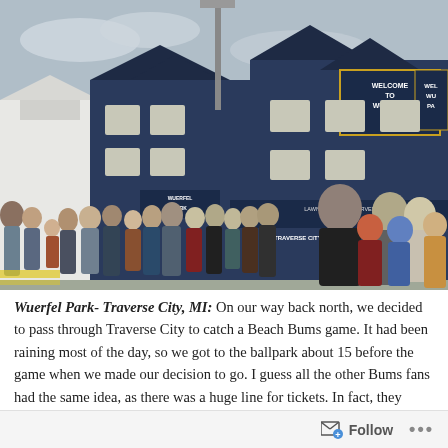[Figure (photo): A large crowd of people standing in line outside Wuerfel Park in Traverse City, MI. The building is blue with white trim and signage reading 'Welcome to Wuerfel Park'. People of various ages including children are lined up on the sidewalk/parking lot area.]
Wuerfel Park- Traverse City, MI: On our way back north, we decided to pass through Traverse City to catch a Beach Bums game. It had been raining most of the day, so we got to the ballpark about 15 before the game when we made our decision to go. I guess all the other Bums fans had the same idea, as there was a huge line for tickets. In fact, they finally decided to open a second ticket